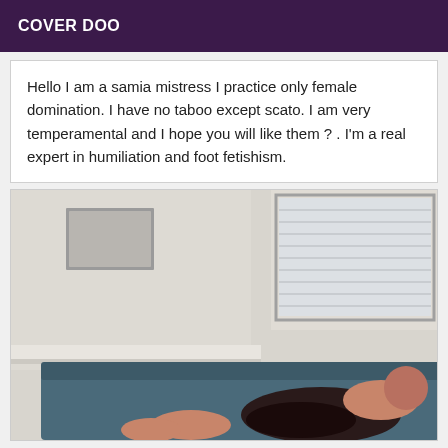COVER DOO
Hello I am a samia mistress I practice only female domination. I have no taboo except scato. I am very temperamental and I hope you will like them ? . I'm a real expert in humiliation and foot fetishism.
[Figure (photo): Photo of a person in a room with a sofa, white walls, and window blinds in the background.]